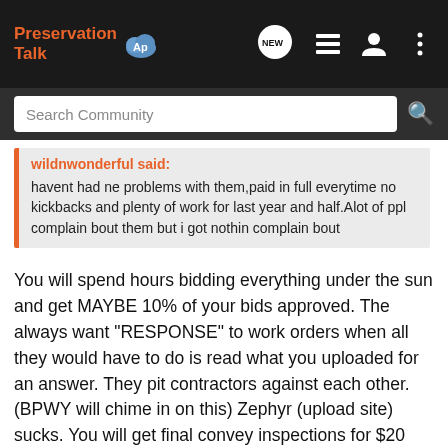Preservation Talk [logo]
Search Community
wildnwonderful said:
havent had ne problems with them,paid in full everytime no kickbacks and plenty of work for last year and half.Alot of ppl complain bout them but i got nothin complain bout
You will spend hours bidding everything under the sun and get MAYBE 10% of your bids approved. The always want "RESPONSE" to work orders when all they would have to do is read what you uploaded for an answer. They pit contractors against each other. (BPWY will chime in on this) Zephyr (upload site) sucks. You will get final convey inspections for $20 bucks net but need 75-100 photos that all have to be labeled and uploaded. You can mass label them in your file folder and upload them but that takes time as well. I have had properties that i had final convey inspections every month for over a year